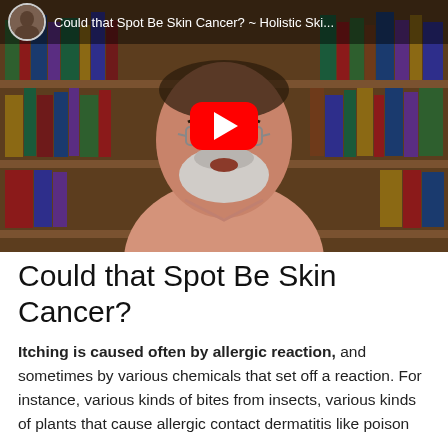[Figure (screenshot): YouTube video thumbnail showing a man with glasses and a white beard sitting in front of a bookshelf. The video title bar reads 'Could that Spot Be Skin Cancer? ~ Holistic Ski...' with a red YouTube play button overlay in the center.]
Could that Spot Be Skin Cancer?
Itching is caused often by allergic reaction, and sometimes by various chemicals that set off a reaction. For instance, various kinds of bites from insects, various kinds of plants that cause allergic contact dermatitis like poison